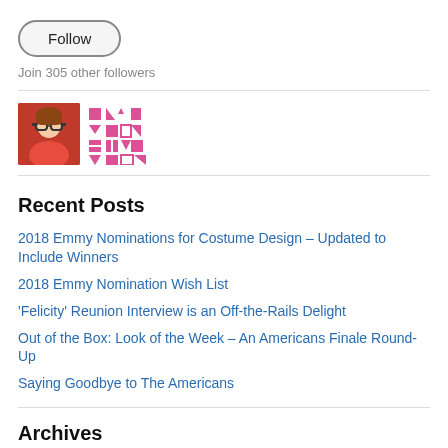[Figure (other): Follow button — rounded rectangle button with text 'Follow']
Join 305 other followers
[Figure (other): Two avatar/profile images: a photo of a woman with glasses and a pink geometric pattern avatar]
Recent Posts
2018 Emmy Nominations for Costume Design – Updated to Include Winners
2018 Emmy Nomination Wish List
'Felicity' Reunion Interview is an Off-the-Rails Delight
Out of the Box: Look of the Week – An Americans Finale Round-Up
Saying Goodbye to The Americans
Archives